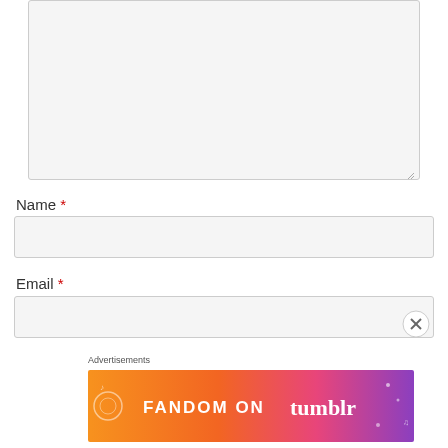[Figure (screenshot): Empty textarea input box with light gray background and resize handle in bottom right corner]
Name *
[Figure (screenshot): Empty name text input field with light gray background]
Email *
[Figure (screenshot): Empty email text input field with light gray background]
Advertisements
[Figure (illustration): Fandom on Tumblr advertisement banner with colorful gradient background from orange to purple with doodle art and text FANDOM ON tumblr]